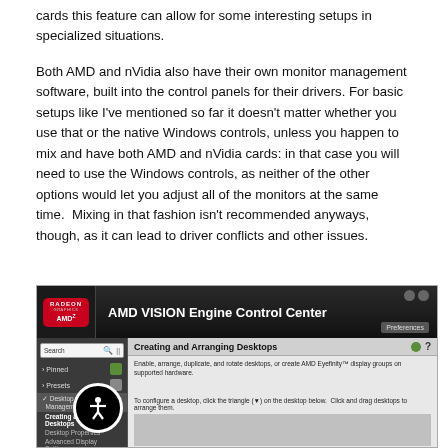cards this feature can allow for some interesting setups in specialized situations.
Both AMD and nVidia also have their own monitor management software, built into the control panels for their drivers. For basic setups like I've mentioned so far it doesn't matter whether you use that or the native Windows controls, unless you happen to mix and have both AMD and nVidia cards: in that case you will need to use the Windows controls, as neither of the other options would let you adjust all of the monitors at the same time.  Mixing in that fashion isn't recommended anyways, though, as it can lead to driver conflicts and other issues.
[Figure (screenshot): Screenshot of AMD VISION Engine Control Center showing the 'Creating and Arranging Desktops' section in the Desktop Management menu. The interface has a dark header with the Radeon Graphics AMD logo, a left sidebar navigation menu, and a right panel with desktop management options.]